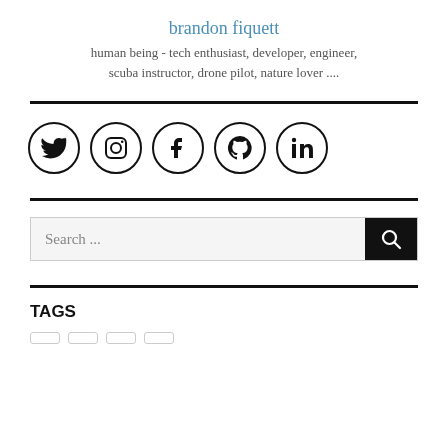brandon fiquett
human being - tech enthusiast, developer, engineer, scuba instructor, drone pilot, nature lover ....
[Figure (infographic): Five social media icons in circles: Twitter, Instagram, Facebook, GitHub, LinkedIn]
Search ...
TAGS